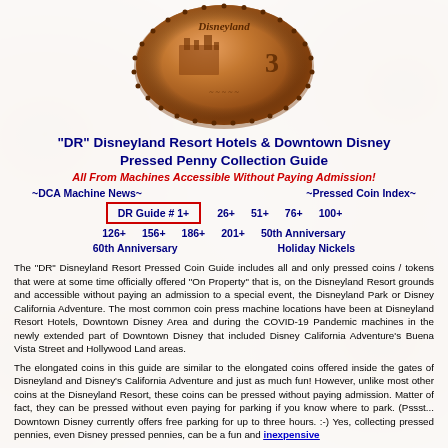[Figure (photo): A pressed penny / elongated coin from Disneyland Resort, copper colored, oval shaped with dotted border, showing a design with the text 'Disneyland' and the number 3, with an image of a building/attraction]
"DR" Disneyland Resort Hotels & Downtown Disney Pressed Penny Collection Guide
All From Machines Accessible Without Paying Admission!
~DCA Machine News~
~Pressed Coin Index~
DR Guide # 1+
26+
51+
76+
100+
126+
156+
186+
201+
50th Anniversary
60th Anniversary
Holiday Nickels
The "DR" Disneyland Resort Pressed Coin Guide includes all and only pressed coins / tokens that were at some time officially offered "On Property" that is, on the Disneyland Resort grounds and accessible without paying an admission to a special event, the Disneyland Park or Disney California Adventure. The most common coin press machine locations have been at Disneyland Resort Hotels, Downtown Disney Area and during the COVID-19 Pandemic machines in the newly extended part of Downtown Disney that included Disney California Adventure's Buena Vista Street and Hollywood Land areas.
The elongated coins in this guide are similar to the elongated coins offered inside the gates of Disneyland and Disney's California Adventure and just as much fun! However, unlike most other coins at the Disneyland Resort, these coins can be pressed without paying admission. Matter of fact, they can be pressed without even paying for parking if you know where to park. (Pssst... Downtown Disney currently offers free parking for up to three hours. :-) Yes, collecting pressed pennies, even Disney pressed pennies, can be a fun and inexpensive